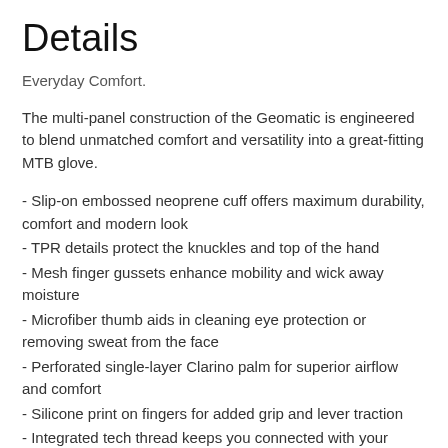Details
Everyday Comfort.
The multi-panel construction of the Geomatic is engineered to blend unmatched comfort and versatility into a great-fitting MTB glove.
- Slip-on embossed neoprene cuff offers maximum durability, comfort and modern look
- TPR details protect the knuckles and top of the hand
- Mesh finger gussets enhance mobility and wick away moisture
- Microfiber thumb aids in cleaning eye protection or removing sweat from the face
- Perforated single-layer Clarino palm for superior airflow and comfort
- Silicone print on fingers for added grip and lever traction
- Integrated tech thread keeps you connected with your